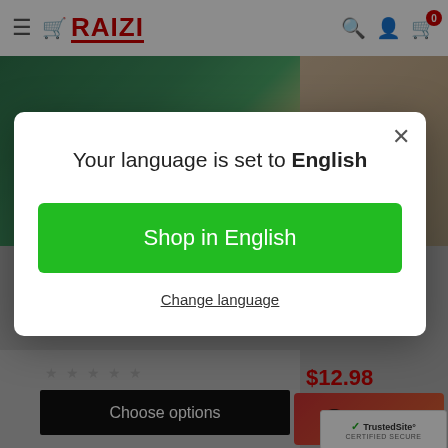[Figure (screenshot): Raizi e-commerce website header with hamburger menu, cart logo, search icon, account icon, and cart icon with badge showing 0]
[Figure (screenshot): Background product images showing green PCB/circuit boards on left and brown/tan material on right, partially obscured by modal overlay]
Your language is set to English
Shop in English
Change language
$12.98
Choose options
[Figure (logo): TrustedSite certified secure badge]